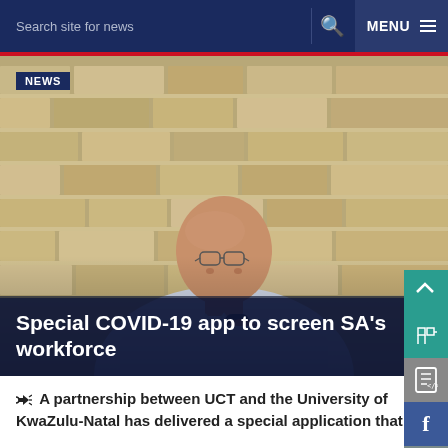Search site for news | Q  MENU
[Figure (photo): Man in white shirt holding a microphone, speaking in front of a stone/brick wall background. NEWS badge overlaid top-left. Title overlay at bottom: 'Special COVID-19 app to screen SA's workforce']
Special COVID-19 app to screen SA's workforce
A partnership between UCT and the University of KwaZulu-Natal has delivered a special application that